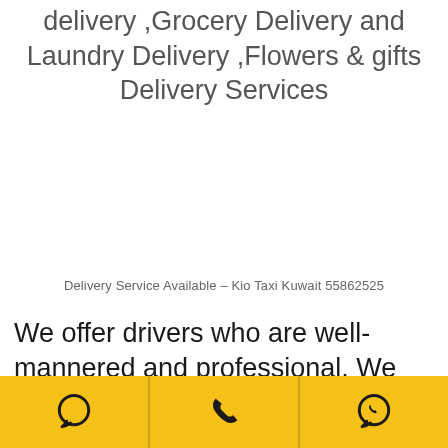delivery ,Grocery Delivery and Laundry Delivery ,Flowers & gifts Delivery Services
Delivery Service Available – Kio Taxi Kuwait 55862525
We offer drivers who are well-mannered and professional. We promise to provide you the most Trustworthy and reliable
[Figure (infographic): Yellow footer bar with three icons: speech bubble (chat), phone handset, and WhatsApp logo]